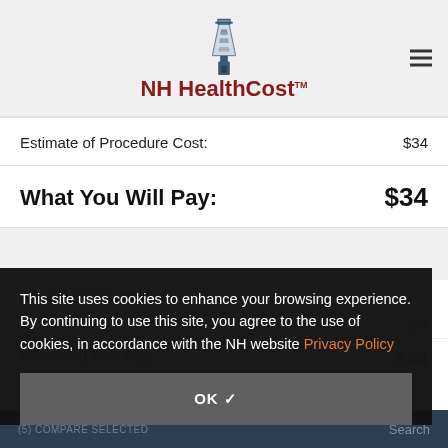NH HealthCost
|  |  |
| --- | --- |
| Estimate of Procedure Cost: | $34 |
| What You Will Pay: | $34 |
This site uses cookies to enhance your browsing experience. By continuing to use this site, you agree to the use of cookies, in accordance with the NH website Privacy Policy
OK ✓